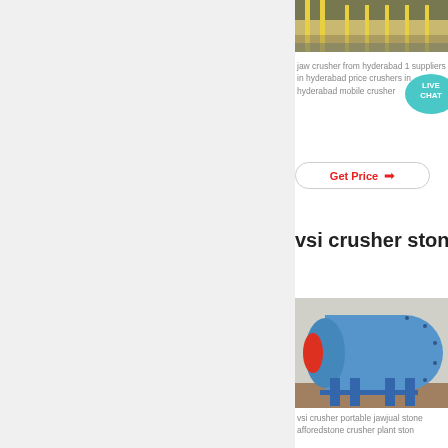[Figure (photo): Industrial facility interior with yellow structural bars and equipment]
jaw crusher from hyderabad 1 suppliers in hyderabad price crushers in hyderabad mobile crusher
[Figure (illustration): Live Chat bubble icon in teal color]
Get Price →
vsi crusher stone
[Figure (photo): Large blue ball mill industrial grinding machine with red inlet, mounted on blue steel frame]
vsi crusher portable jawjual stone afforedstone crusher plant ston